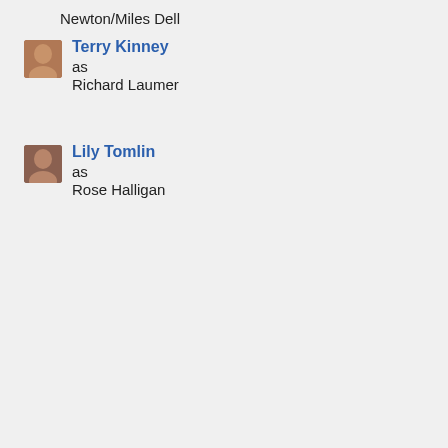Newton/Miles Dell
Terry Kinney
as
Richard Laumer
Lily Tomlin
as
Rose Halligan
[Figure (infographic): Kynix advertisement for Integrated Circuits Supplier. Features Kynix logo in red italic, a Microchip brand IC chip image, text reading 'Over 1000+ Integrated circuit chip products are in stock and available now.' in dark red. Bottom section shows 'Integrated Circuits Supplier' in bold black, with 'Kynix' in gray and 'Get Quote >' in blue.]